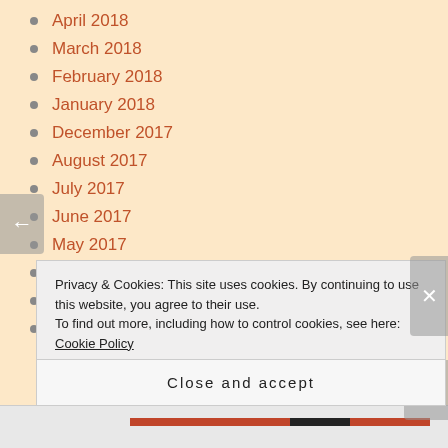April 2018
March 2018
February 2018
January 2018
December 2017
August 2017
July 2017
June 2017
May 2017
April 2017
November 2016
October 2016
Privacy & Cookies: This site uses cookies. By continuing to use this website, you agree to their use. To find out more, including how to control cookies, see here: Cookie Policy
Close and accept